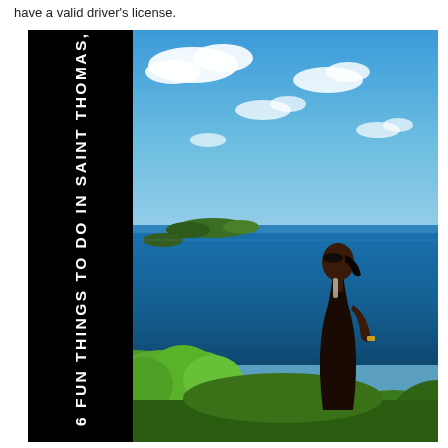have a valid driver's license.
[Figure (photo): A woman in a black outfit stands on a hilltop viewpoint overlooking a stunning Caribbean seascape with lush green vegetation, blue ocean, small islands, and a bright blue sky with white clouds. The left side of the image has a black vertical banner with white rotated text reading '6 FUN THINGS TO DO IN SAINT THOMAS, USVI'.]